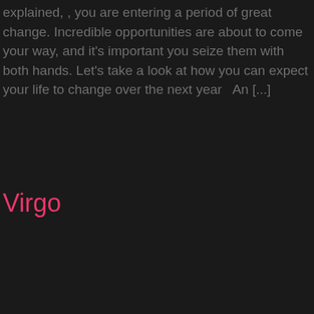explained, , you are entering a period of great change. Incredible opportunities are about to come your way, and it's important you seize them with both hands. Let's take a look at how you can expect your life to change over the next year   An [...]
Virgo